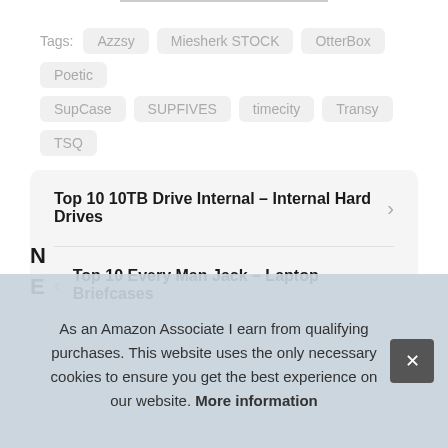Tags: Azzsy Miesherk STOCK OtterBox Poetic SupCase SUPFIVES timecity Transy TSQ
Top 10 10TB Drive Internal – Internal Hard Drives
Top 10 Every Man Jack – Laptop Briefcases
As an Amazon Associate I earn from qualifying purchases. This website uses the only necessary cookies to ensure you get the best experience on our website. More information